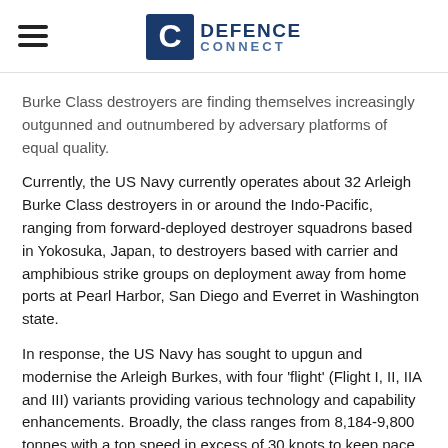DEFENCE CONNECT
Burke Class destroyers are finding themselves increasingly outgunned and outnumbered by adversary platforms of equal quality.
Currently, the US Navy currently operates about 32 Arleigh Burke Class destroyers in or around the Indo-Pacific, ranging from forward-deployed destroyer squadrons based in Yokosuka, Japan, to destroyers based with carrier and amphibious strike groups on deployment away from home ports at Pearl Harbor, San Diego and Everret in Washington state.
In response, the US Navy has sought to upgun and modernise the Arleigh Burkes, with four 'flight' (Flight I, II, IIA and III) variants providing various technology and capability enhancements. Broadly, the class ranges from 8,184-9,800 tonnes with a top speed in excess of 30 knots to keep pace